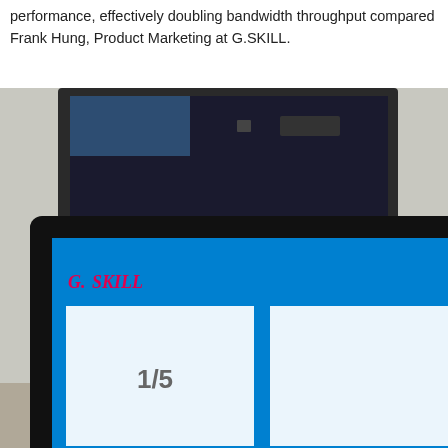performance, effectively doubling bandwidth throughput compared Frank Hung, Product Marketing at G.SKILL.
[Figure (photo): A photo of a computer monitor setup at what appears to be a trade show demo. The foreground shows an ASUS monitor displaying a G.SKILL memory benchmark utility on a blue background, showing benchmark scores and progress bars. Behind it is another monitor, and to the right is a G.SKILL retail box showing 'UNPRECEDENTED' text, an Intel Core sticker, and benchmark comparison numbers (35,424) between DDR3-1333MHz and DDR4 memory.]